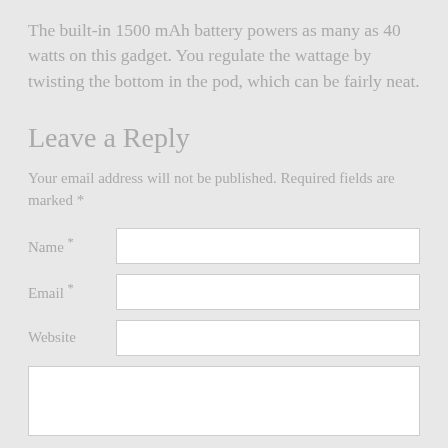The built-in 1500 mAh battery powers as many as 40 watts on this gadget. You regulate the wattage by twisting the bottom in the pod, which can be fairly neat.
Leave a Reply
Your email address will not be published. Required fields are marked *
| Label | Field |
| --- | --- |
| Name * |  |
| Email * |  |
| Website |  |
| (comment box) |  |